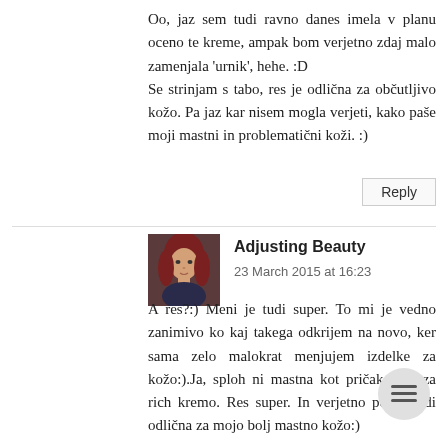Oo, jaz sem tudi ravno danes imela v planu oceno te kreme, ampak bom verjetno zdaj malo zamenjala 'urnik', hehe. :D Se strinjam s tabo, res je odlična za občutljivo kožo. Pa jaz kar nisem mogla verjeti, kako paše moji mastni in problematični koži. :)
Reply
Adjusting Beauty
23 March 2015 at 16:23
A res?:) Meni je tudi super. To mi je vedno zanimivo ko kaj takega odkrijem na novo, ker sama zelo malokrat menjujem izdelke za kožo:).Ja, sploh ni mastna kot pričakovala za rich kremo. Res super. In verjetno poleti tudi odlična za mojo bolj mastno kožo:)
[Figure (photo): Avatar photo of commenter Adjusting Beauty, showing a woman with red/auburn hair]